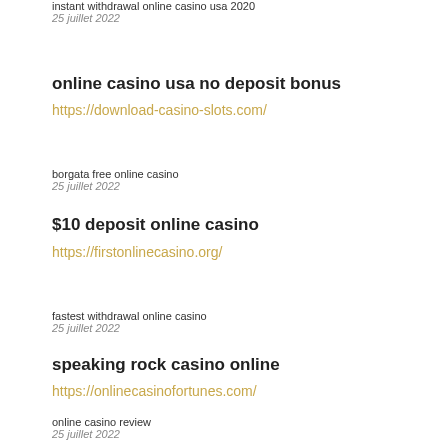instant withdrawal online casino usa 2020
25 juillet 2022
online casino usa no deposit bonus
https://download-casino-slots.com/
borgata free online casino
25 juillet 2022
$10 deposit online casino
https://firstonlinecasino.org/
fastest withdrawal online casino
25 juillet 2022
speaking rock casino online
https://onlinecasinofortunes.com/
online casino review
25 juillet 2022